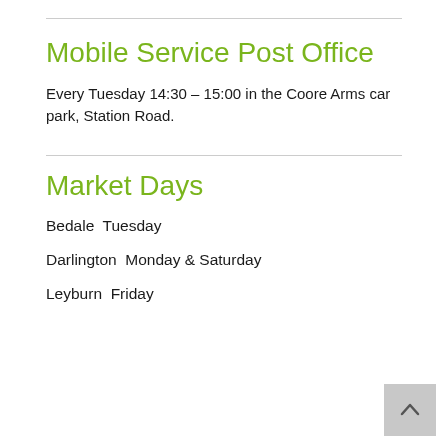Mobile Service Post Office
Every Tuesday 14:30 – 15:00 in the Coore Arms car park, Station Road.
Market Days
Bedale  Tuesday
Darlington  Monday & Saturday
Leyburn  Friday